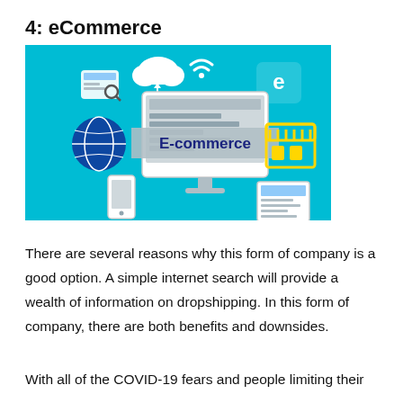4: eCommerce
[Figure (illustration): An eCommerce themed illustration on a teal/cyan background. Center features a desktop computer with the text 'E-commerce' on a banner overlay. Surrounding icons include: cloud with upload/download arrows, wifi symbol, a browser/search icon, a globe/network icon, a store-front icon in yellow, and a mobile phone and tablet device. The overall theme is digital commerce.]
There are several reasons why this form of company is a good option. A simple internet search will provide a wealth of information on dropshipping. In this form of company, there are both benefits and downsides.
With all of the COVID-19 fears and people limiting their